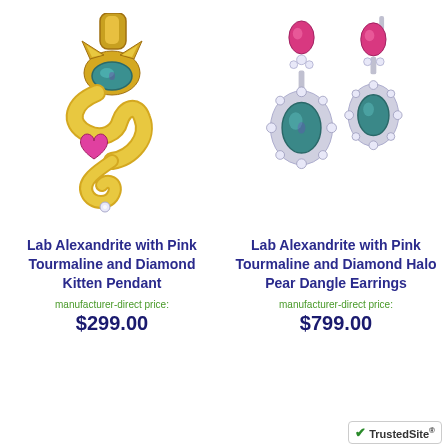[Figure (photo): Lab Alexandrite with Pink Tourmaline and Diamond Kitten Pendant - gold cat-shaped pendant with teal oval gemstone and pink heart stone]
Lab Alexandrite with Pink Tourmaline and Diamond Kitten Pendant
manufacturer-direct price:
$299.00
[Figure (photo): Lab Alexandrite with Pink Tourmaline and Diamond Halo Pear Dangle Earrings - pair of silver dangle earrings with pink and teal stones surrounded by diamond halo]
Lab Alexandrite with Pink Tourmaline and Diamond Halo Pear Dangle Earrings
manufacturer-direct price:
$799.00
[Figure (logo): TrustedSite badge with green checkmark]